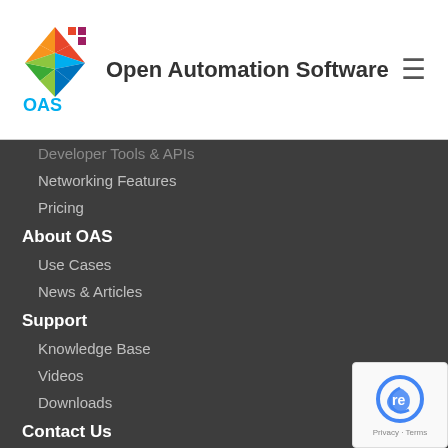[Figure (logo): Open Automation Software logo — colorful geometric shape with OAS text and hamburger menu icon on white header bar]
Open Automation Software
Developer Tools & APIs
Networking Features
Pricing
About OAS
Use Cases
News & Articles
Support
Knowledge Base
Videos
Downloads
Contact Us
Request a Product Demo
Request a Price Quotation
[Figure (logo): Google reCAPTCHA badge with Privacy and Terms links]